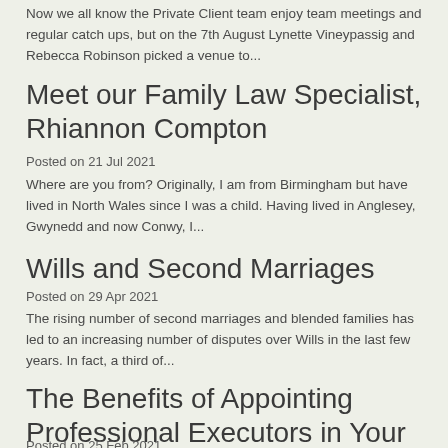Now we all know the Private Client team enjoy team meetings and regular catch ups, but on the 7th August Lynette Vineypassig and Rebecca Robinson picked a venue to...
Meet our Family Law Specialist, Rhiannon Compton
Posted on 21 Jul 2021
Where are you from?  Originally, I am from Birmingham but have lived in North Wales since I was a child. Having lived in Anglesey, Gwynedd and now Conwy, I...
Wills and Second Marriages
Posted on 29 Apr 2021
The rising number of second marriages and blended families has led to an increasing number of disputes over Wills in the last few years. In fact, a third of...
The Benefits of Appointing Professional Executors in Your Will
Posted on 25 Feb 2021